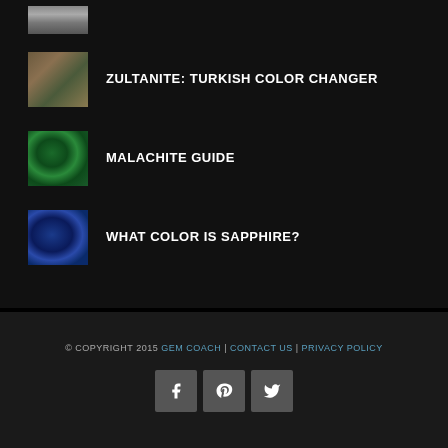[Figure (photo): Partial thumbnail of a ring at the very top of the page]
ZULTANITE: TURKISH COLOR CHANGER
MALACHITE GUIDE
WHAT COLOR IS SAPPHIRE?
© COPYRIGHT 2015 GEM COACH | CONTACT US | PRIVACY POLICY